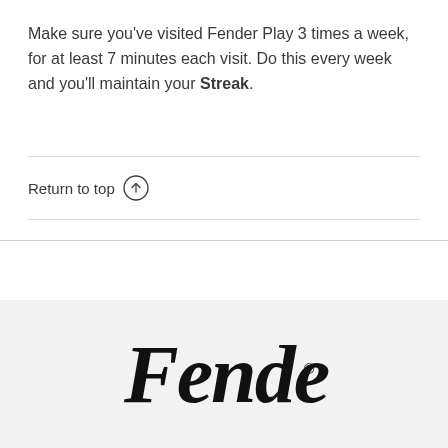Make sure you've visited Fender Play 3 times a week, for at least 7 minutes each visit. Do this every week and you'll maintain your Streak.
Return to top ↑
[Figure (logo): Fender script logo in black on light gray background]